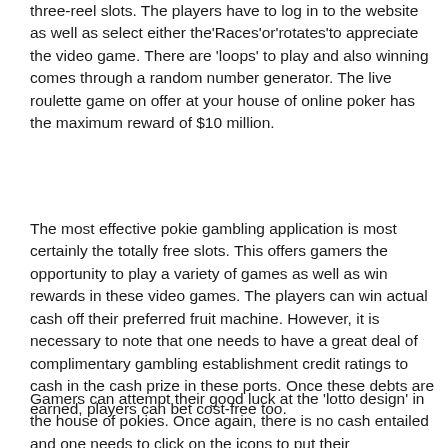three-reel slots. The players have to log in to the website as well as select either the'Races'or'rotates'to appreciate the video game. There are 'loops' to play and also winning comes through a random number generator. The live roulette game on offer at your house of online poker has the maximum reward of $10 million.
The most effective pokie gambling application is most certainly the totally free slots. This offers gamers the opportunity to play a variety of games as well as win rewards in these video games. The players can win actual cash off their preferred fruit machine. However, it is necessary to note that one needs to have a great deal of complimentary gambling establishment credit ratings to cash in the cash prize in these ports. Once these debts are earned, players can bet cost-free too.
Gamers can attempt their good luck at the 'lotto design' in the house of pokies. Once again, there is no cash entailed and one needs to click on the icons to put their